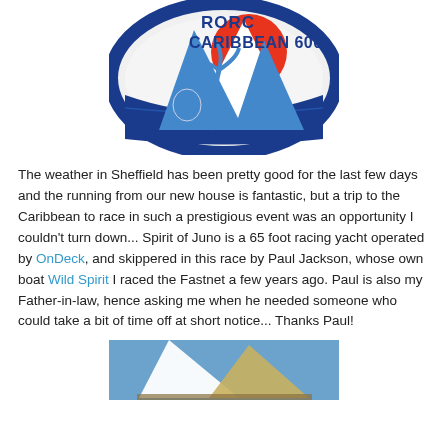[Figure (logo): RORC Caribbean 600 circular logo with blue oval border, red sun, blue/white palm tree and sailboat, seahorse emblem, text reading RORC CARIBBEAN 600]
The weather in Sheffield has been pretty good for the last few days and the running from our new house is fantastic, but a trip to the Caribbean to race in such a prestigious event was an opportunity I couldn't turn down... Spirit of Juno is a 65 foot racing yacht operated by OnDeck, and skippered in this race by Paul Jackson, whose own boat Wild Spirit I raced the Fastnet a few years ago. Paul is also my Father-in-law, hence asking me when he needed someone who could take a bit of time off at short notice... Thanks Paul!
[Figure (photo): Partial view of a sailing yacht with white and yellow/tan sails against a blue sky]